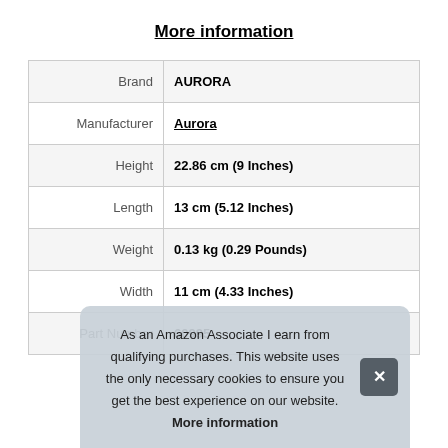More information
|  |  |
| --- | --- |
| Brand | AURORA |
| Manufacturer | Aurora |
| Height | 22.86 cm (9 Inches) |
| Length | 13 cm (5.12 Inches) |
| Weight | 0.13 kg (0.29 Pounds) |
| Width | 11 cm (4.33 Inches) |
| Part Number | 60995 |
As an Amazon Associate I earn from qualifying purchases. This website uses the only necessary cookies to ensure you get the best experience on our website. More information